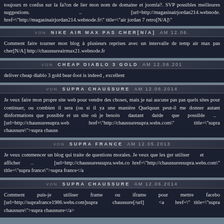toujours m confus sur la fa?on de lier mon nom de domaine et joomla?. SVP possibles meilleures suggestions. .. [url=http://magasinairjordan214.webnode. href="http://magasinairjordan214.webnode.fr" title="air jordan 7 retro[N/A]"
VON NIKE AIR MAX PAS CHER[N/A] AM 12.06.
Comment faire tourner mon blog à plusieurs reprises avec un intervalle de temp air max pas cher[N/A] http://chaussureairmax21.webnode.fr
VON CHEAP DIABLO 3 GOLD AM 12.06.201
deliver cheap diablo 3 gold bear-foot is indeed , excellent
VON SUPRA CHAUSSURE AM 12.06.2014
Je veux faire mon propre site web pour vendre des choses, mais je nai aucune pas pas quels sites pour continuer, ou combien il sera (ou si il ya une manière Quelquun peut-il me donner autant dinformations que possible et un site où je besoin dautant daide que possible .. [url=http://chaussuresupra.web href="http://chaussuresupra.webs.com" title="supra chaussure">supra chauss
VON SUPRA FRANCE AM 12.05.2013
Je veux commencer un blog qui traite de questions morales. Je veux que les ger utiliser et afficher .. [url=http://chaussuressupra.webs.co href="http://chaussuressupra.webs.com" title="supra france">supra france</a
VON SUPRA CHAUSSURE AM 12.06.2014
Comment puis-je utiliser frame ou iframe pour mettre facebo [url=http://suprafrance1986.webs.com]supra chaussure[/url] <a href=" title="supra chaussure">supra chaussure</a>